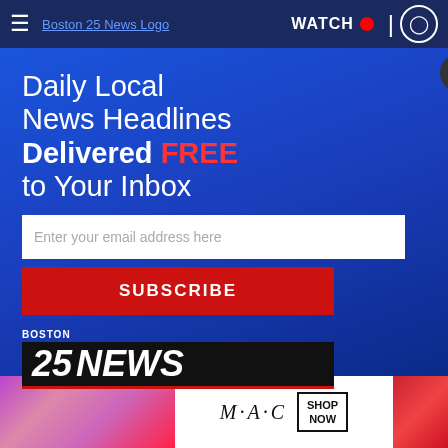Boston 25 News — WATCH
[Figure (screenshot): Boston 25 News website screenshot showing a newsletter signup modal overlay on top of a news article about a security camera. The modal has a blue gradient background with white text reading 'Daily Local News Headlines Delivered FREE to Your Inbox', an email input field, a red SUBSCRIBE button, and the Boston 25 News logo. A close X button appears at the top right of the modal. Below the modal is a close X button and an M·A·C cosmetics advertisement bar.]
Daily Local News Headlines Delivered FREE to Your Inbox
Enter your email address here
SUBSCRIBE
BOSTON 25 NEWS
ty Camera That
M·A·C — SHOP NOW